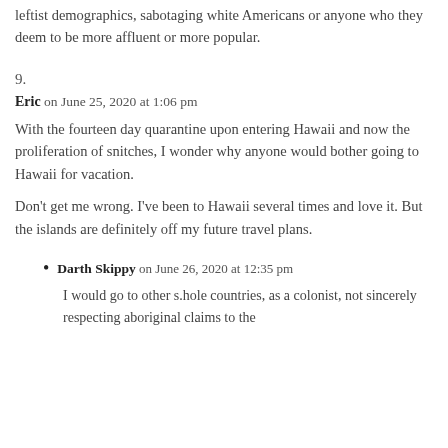leftist demographics, sabotaging white Americans or anyone who they deem to be more affluent or more popular.
9.
Eric on June 25, 2020 at 1:06 pm
With the fourteen day quarantine upon entering Hawaii and now the proliferation of snitches, I wonder why anyone would bother going to Hawaii for vacation.
Don't get me wrong. I've been to Hawaii several times and love it. But the islands are definitely off my future travel plans.
Darth Skippy on June 26, 2020 at 12:35 pm
I would go to other s.hole countries, as a colonist, not sincerely respecting aboriginal claims to the